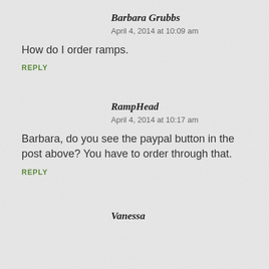Barbara Grubbs
April 4, 2014 at 10:09 am
How do I order ramps.
REPLY
RampHead
April 4, 2014 at 10:17 am
Barbara, do you see the paypal button in the post above? You have to order through that.
REPLY
Vanessa